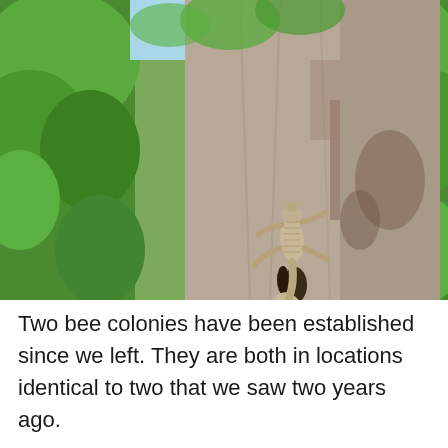[Figure (photo): A lizard (gecko) clinging to the bark of a large tree trunk in a tropical forest setting. Green leaves are visible on both sides of the tree. The tree bark is pale grey and textured.]
Two bee colonies have been established since we left. They are both in locations identical to two that we saw two years ago.